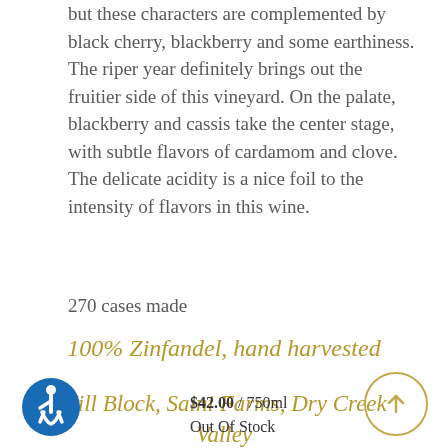but these characters are complemented by black cherry, blackberry and some earthiness. The riper year definitely brings out the fruitier side of this vineyard. On the palate, blackberry and cassis take the center stage, with subtle flavors of cardamom and clove. The delicate acidity is a nice foil to the intensity of flavors in this wine.
270 cases made
100% Zinfandel, hand harvested
Hill Block, Saini Farms, Dry Creek Valley
$42.00 / 750ml Out Of Stock